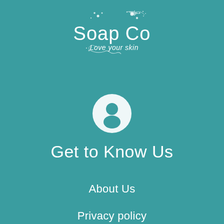[Figure (logo): Soap Co logo with decorative floral/bubble elements and tagline 'Love your skin' on teal background]
[Figure (illustration): White circular user/person icon (avatar silhouette) on teal background]
Get to Know Us
About Us
Privacy policy
Disclaimer